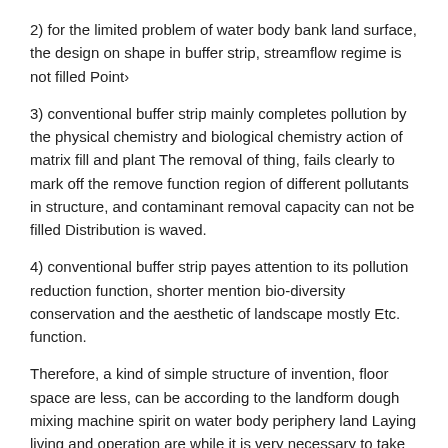2) for the limited problem of water body bank land surface, the design on shape in buffer strip, streamflow regime is not filled Point›
3) conventional buffer strip mainly completes pollution by the physical chemistry and biological chemistry action of matrix fill and plant The removal of thing, fails clearly to mark off the remove function region of different pollutants in structure, and contaminant removal capacity can not be filled Distribution is waved.
4) conventional buffer strip payes attention to its pollution reduction function, shorter mention bio-diversity conservation and the aesthetic of landscape mostly Etc. function.
Therefore, a kind of simple structure of invention, floor space are less, can be according to the landform dough mixing machine spirit on water body periphery land Laying living and operation are while it is very necessary to take into account the aesthetic of landscape and the compound terrestrial vegetation buffer strip of bio-diversity conservation.